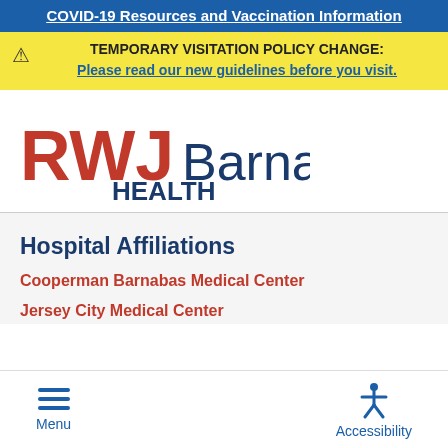COVID-19 Resources and Vaccination Information
TEMPORARY VISITATION POLICY CHANGE: Please read our new guidelines before you visit.
[Figure (logo): RWJBarnabas Health logo — red letters RWJ, blue letters Barnabas, blue bold HEALTH]
Hospital Affiliations
Cooperman Barnabas Medical Center
Jersey City Medical Center
Menu  Accessibility